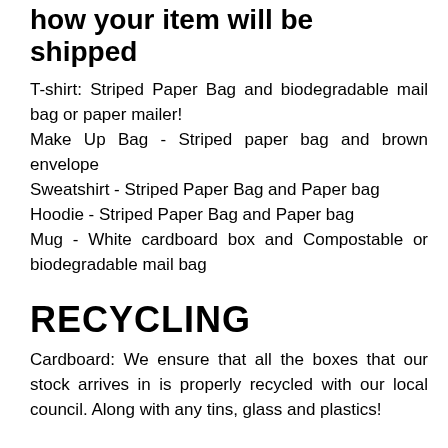how your item will be shipped
T-shirt: Striped Paper Bag and biodegradable mail bag or paper mailer!
Make Up Bag - Striped paper bag and brown envelope
Sweatshirt - Striped Paper Bag and Paper bag
Hoodie - Striped Paper Bag and Paper bag
Mug - White cardboard box and Compostable or biodegradable mail bag
RECYCLING
Cardboard: We ensure that all the boxes that our stock arrives in is properly recycled with our local council. Along with any tins, glass and plastics!
SECONDS